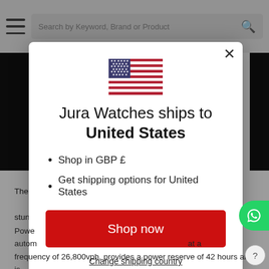Search by Keyword, Brand or Product
[Figure (screenshot): Dark product image strip behind modal]
The c... n is quite ... s stunn... ng absol... lue found... tion inside ... h has b... numer... in grade... additi... n resist... with a...
[Figure (illustration): USA flag icon]
Jura Watches ships to United States
Shop in GBP £
Get shipping options for United States
Shop now
Change shipping country
Powe... autom... at a frequency of 26,800vph, provides a power reserve of 42 hours and is equipped with a total of 25 jewels. Most importantly, the Swiss m...